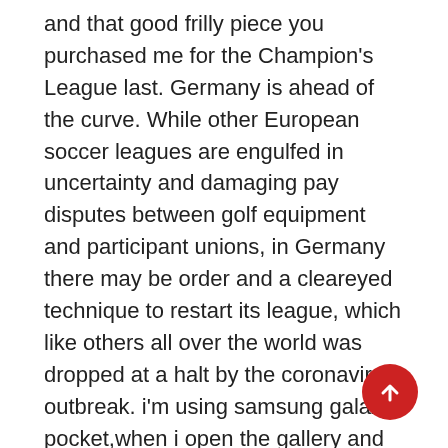and that good frilly piece you purchased me for the Champion's League last. Germany is ahead of the curve. While other European soccer leagues are engulfed in uncertainty and damaging pay disputes between golf equipment and participant unions, in Germany there may be order and a cleareyed technique to restart its league, which like others all over the world was dropped at a halt by the coronavirus outbreak. i'm using samsung galaxy pocket,when i open the gallery and facebook messenger the screen begins to blink y?typically some purposes are force closed.while typing a message it comes out to the home display. As a result of outbreak of Extreme Acute Respiratory Syndrome, FIFA relocated the Women's World Cup out of China. After a profitable bid to host the